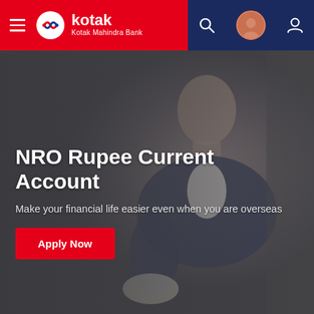[Figure (logo): Kotak Mahindra Bank logo and navigation bar with hamburger menu, search icon, profile icon, and account icon]
[Figure (photo): Background hero image of a blurred man in a suit holding papers, with dark gray overlay]
NRO Rupee Current Account
Make your financial life easier even when you are overseas
Apply Now